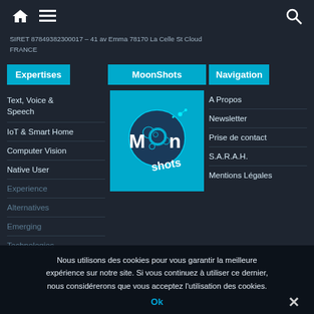Home / Menu / Search
SIRET 87849382300017 – 41 av Emma 78170 La Celle St Cloud FRANCE
Expertises
[Figure (logo): MoonShots logo - blue background with moon graphic and 'Moon shots' text in white]
MoonShots
Navigation
Text, Voice & Speech
IoT & Smart Home
Computer Vision
Native User Experience
Alternatives
Emerging Technologies
A Propos
Newsletter
Prise de contact
S.A.R.A.H.
Mentions Légales
Nous utilisons des cookies pour vous garantir la meilleure expérience sur notre site. Si vous continuez à utiliser ce dernier, nous considérerons que vous acceptez l'utilisation des cookies.
Ok